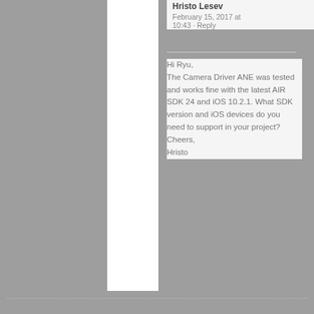Hristo Lesev
February 15, 2017 at 10:43 · Reply
Hi Ryu,
The Camera Driver ANE was tested and works fine with the latest AIR SDK 24 and iOS 10.2.1. What SDK version and iOS devices do you need to support in your project?
Cheers,
Hristo